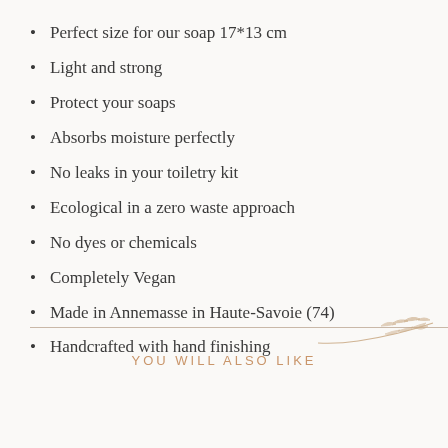Perfect size for our soap 17*13 cm
Light and strong
Protect your soaps
Absorbs moisture perfectly
No leaks in your toiletry kit
Ecological in a zero waste approach
No dyes or chemicals
Completely Vegan
Made in Annemasse in Haute-Savoie (74)
Handcrafted with hand finishing
[Figure (illustration): Decorative leaf/branch illustration in rose-gold color]
YOU WILL ALSO LIKE